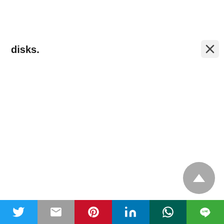disks.
[Figure (screenshot): Close (X) button in top right corner]
[Figure (other): Scroll-to-top circular button with upward triangle arrow, gray colored]
[Figure (infographic): Social share bar with 6 buttons: Twitter (blue bird icon), Gmail (gray M icon), Pinterest (red P icon), LinkedIn (blue in icon), WhatsApp (dark teal), LINE (green)]